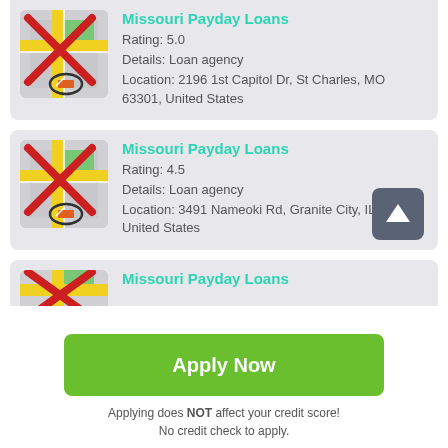[Figure (screenshot): Missouri Payday Loans listing card 1 with map placeholder icon (red X overlay), rating 5.0, loan agency, location 2196 1st Capitol Dr, St Charles, MO 63301, United States]
Missouri Payday Loans
Rating: 5.0
Details: Loan agency
Location: 2196 1st Capitol Dr, St Charles, MO 63301, United States
[Figure (screenshot): Missouri Payday Loans listing card 2 with map placeholder icon (red X overlay), rating 4.5, loan agency, location 3491 Nameoki Rd, Granite City, IL 62040, United States]
Missouri Payday Loans
Rating: 4.5
Details: Loan agency
Location: 3491 Nameoki Rd, Granite City, IL 62040, United States
[Figure (screenshot): Missouri Payday Loans listing card 3 (partial), map placeholder icon visible]
Missouri Payday Loans
Apply Now
Applying does NOT affect your credit score!
No credit check to apply.